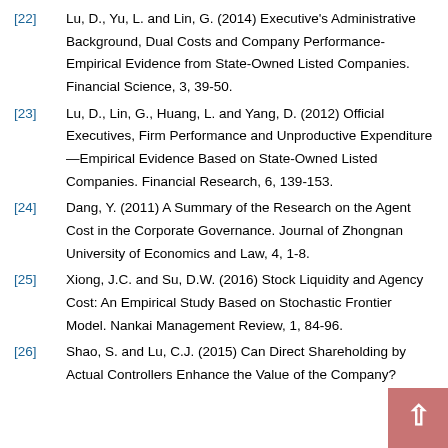[22] Lu, D., Yu, L. and Lin, G. (2014) Executive's Administrative Background, Dual Costs and Company Performance-Empirical Evidence from State-Owned Listed Companies. Financial Science, 3, 39-50.
[23] Lu, D., Lin, G., Huang, L. and Yang, D. (2012) Official Executives, Firm Performance and Unproductive Expenditure—Empirical Evidence Based on State-Owned Listed Companies. Financial Research, 6, 139-153.
[24] Dang, Y. (2011) A Summary of the Research on the Agent Cost in the Corporate Governance. Journal of Zhongnan University of Economics and Law, 4, 1-8.
[25] Xiong, J.C. and Su, D.W. (2016) Stock Liquidity and Agency Cost: An Empirical Study Based on Stochastic Frontier Model. Nankai Management Review, 1, 84-96.
[26] Shao, S. and Lu, C.J. (2015) Can Direct Shareholding by Actual Controllers Enhance the Value of the Company?